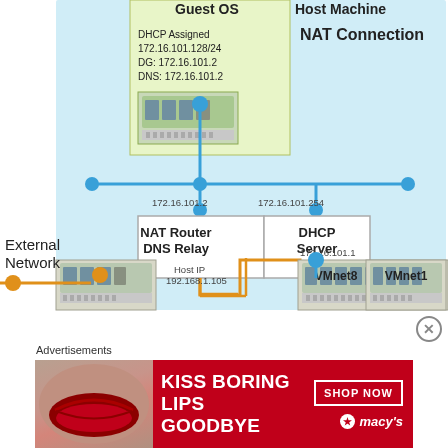[Figure (network-graph): Network diagram showing NAT connection setup with Guest OS (DHCP Assigned 172.16.101.128/24, DG: 172.16.101.2, DNS: 172.16.101.2), NAT Router DNS Relay (172.16.101.2), DHCP Server (172.16.101.254), Host Machine with Host IP 192.168.1.105, VMnet8 (172.16.101.1), VMnet1, and External Network labels. Blue horizontal bus connects components. Orange line shows external network connection.]
Advertisements
[Figure (photo): Macy's advertisement banner with red background showing 'KISS BORING LIPS GOODBYE' text, woman's face with red lips, SHOP NOW button, and Macy's star logo]